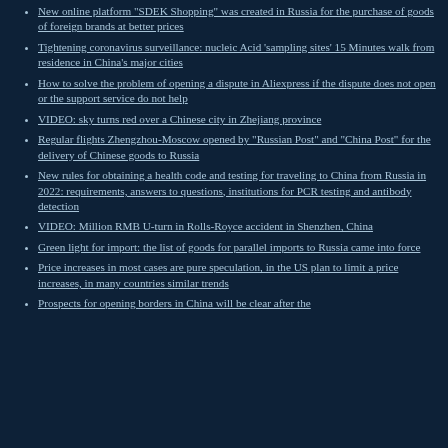New online platform "SDEK Shopping" was created in Russia for the purchase of goods of foreign brands at better prices
Tightening coronavirus surveillance: nucleic Acid 'sampling sites' 15 Minutes walk from residence in China's major cities
How to solve the problem of opening a dispute in Aliexpress if the dispute does not open or the support service do not help
VIDEO: sky turns red over a Chinese city in Zhejiang province
Regular flights Zhengzhou-Moscow opened by "Russian Post" and "China Post" for the delivery of Chinese goods to Russia
New rules for obtaining a health code and testing for traveling to China from Russia in 2022: requirements, answers to questions, institutions for PCR testing and antibody detection
VIDEO: Million RMB U-turn in Rolls-Royce accident in Shenzhen, China
Green light for import: the list of goods for parallel imports to Russia came into force
Price increases in most cases are pure speculation, in the US plan to limit a price increases, in many countries similar trends
Prospects for opening borders in China will be clear after the